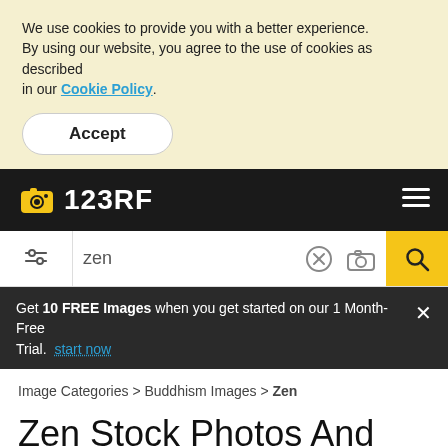We use cookies to provide you with a better experience. By using our website, you agree to the use of cookies as described in our Cookie Policy.
Accept
[Figure (logo): 123RF logo with camera icon on black navigation bar]
[Figure (screenshot): Search bar with filter icon, 'zen' text input, clear and camera icons, and yellow search button]
Get 10 FREE Images when you get started on our 1 Month-Free Trial. start now
Image Categories > Buddhism Images > Zen
Zen Stock Photos And Images